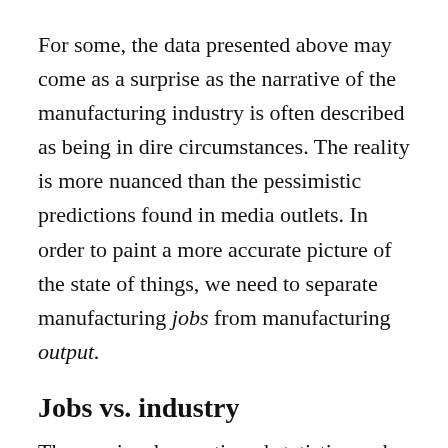For some, the data presented above may come as a surprise as the narrative of the manufacturing industry is often described as being in dire circumstances. The reality is more nuanced than the pessimistic predictions found in media outlets. In order to paint a more accurate picture of the state of things, we need to separate manufacturing jobs from manufacturing output.
Jobs vs. industry
The previously mentioned statistics make a compelling case for the strength of the U.S. manufacturing industry. Even amid the coronavirus crisis, the Deloitte network predicts growth for the industry. This contrasts with trends in manufacturing